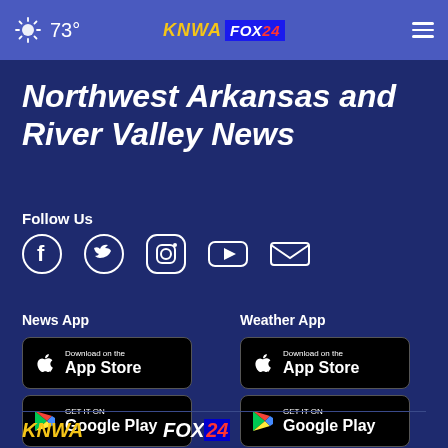73° KNWA FOX24
Northwest Arkansas and River Valley News
Follow Us
[Figure (infographic): Social media icons: Facebook, Twitter, Instagram, YouTube, Email]
News App
[Figure (other): Download on the App Store badge (News App)]
[Figure (other): Get it on Google Play badge (News App)]
Weather App
[Figure (other): Download on the App Store badge (Weather App)]
[Figure (other): Get it on Google Play badge (Weather App)]
KNWA FOX24